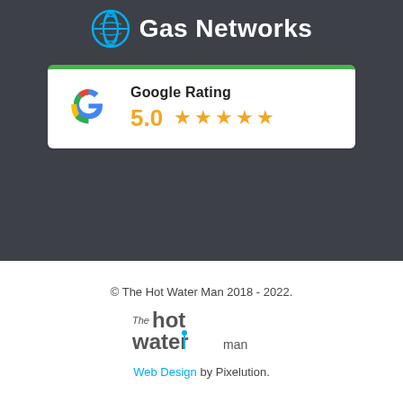[Figure (logo): Gas Networks logo with circular leaf/globe icon and text 'Gas Networks' in white on dark gray background]
[Figure (infographic): Google Rating badge showing 5.0 with five orange stars, Google G logo, white card with green top border]
© The Hot Water Man 2018 - 2022.
[Figure (logo): The Hot Water Man logo with stylized text]
Web Design by Pixelution.